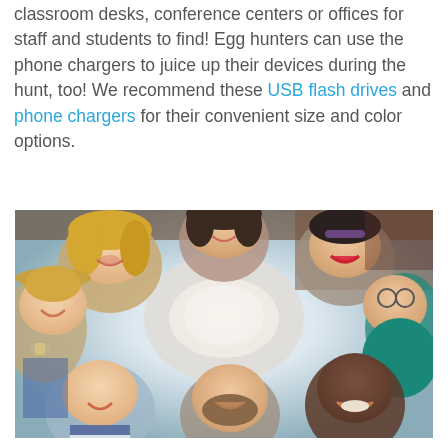classroom desks, conference centers or offices for staff and students to find! Egg hunters can use the phone chargers to juice up their devices during the hunt, too! We recommend these USB flash drives and phone chargers for their convenient size and color options.
[Figure (photo): Overhead/fisheye view of a group of smiling young people (students) looking up at the camera, their heads arranged in a circle, laughing and smiling.]